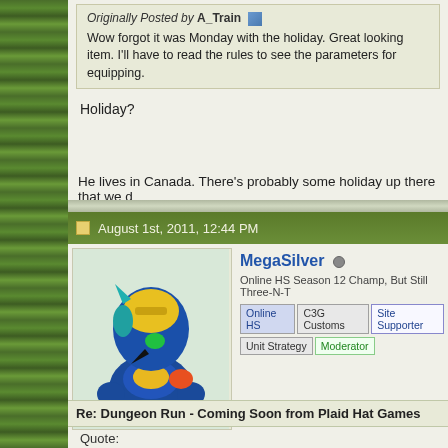Originally Posted by A_Train — Wow forgot it was Monday with the holiday. Great looking item. I'll have to read the rules to see the parameters for equipping.
Holiday?
He lives in Canada. There's probably some holiday up there that we d
August 1st, 2011, 12:44 PM
[Figure (illustration): Avatar image of MegaMan Star Force character in blue and yellow armor]
MegaSilver
Online HS Season 12 Champ, But Still Three-N-T
Online HS | C3G Customs | Site Supporter | Unit Strategy | Moderator
Re: Dungeon Run - Coming Soon from Plaid Hat Games
Quote: